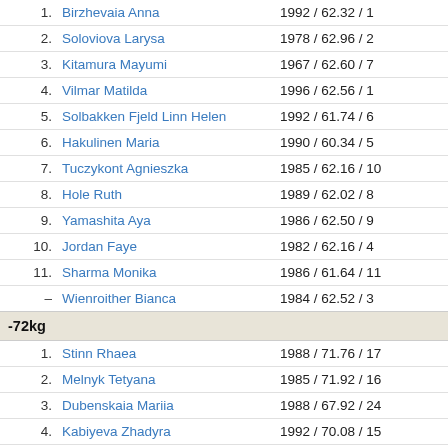| Rank | Name | Data |
| --- | --- | --- |
| 1. | Birzhevaia Anna | 1992 / 62.32 / 1 |
| 2. | Soloviova Larysa | 1978 / 62.96 / 2 |
| 3. | Kitamura Mayumi | 1967 / 62.60 / 7 |
| 4. | Vilmar Matilda | 1996 / 62.56 / 1 |
| 5. | Solbakken Fjeld Linn Helen | 1992 / 61.74 / 6 |
| 6. | Hakulinen Maria | 1990 / 60.34 / 5 |
| 7. | Tuczykont Agnieszka | 1985 / 62.16 / 10 |
| 8. | Hole Ruth | 1989 / 62.02 / 8 |
| 9. | Yamashita Aya | 1986 / 62.50 / 9 |
| 10. | Jordan Faye | 1982 / 62.16 / 4 |
| 11. | Sharma Monika | 1986 / 61.64 / 11 |
| – | Wienroither Bianca | 1984 / 62.52 / 3 |
| -72kg |  |  |
| 1. | Stinn Rhaea | 1988 / 71.76 / 17 |
| 2. | Melnyk Tetyana | 1985 / 71.92 / 16 |
| 3. | Dubenskaia Mariia | 1988 / 67.92 / 24 |
| 4. | Kabiyeva Zhadyra | 1992 / 70.08 / 15 |
| 5. | Hammarstrom Andrea | 1977 / 69.56 / 23 |
| 6. | Mizoguchi Kumi | 1988 / 71.72 / 14 |
| 7. | Silberzahn Cathrin | 1988 / 71.30 / 23 |
| 8. | Vorobiova Iryna | 1980 / 68.28 / 20 |
| 9. | Cowell Kimberley | 1988 / 69.16 / 23 |
| 10. | Caldero Genesse | 1985 / 71.04 / 25 |